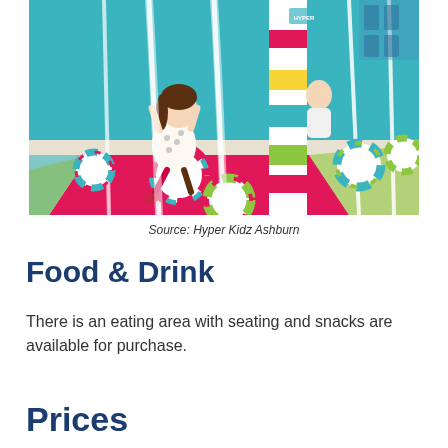[Figure (photo): Children playing on colorful striped hanging swings and pillars in a bright indoor play area with teal blue walls and colorful foam flooring (Hyper Kidz Ashburn)]
Source: Hyper Kidz Ashburn
Food & Drink
There is an eating area with seating and snacks are available for purchase.
Prices